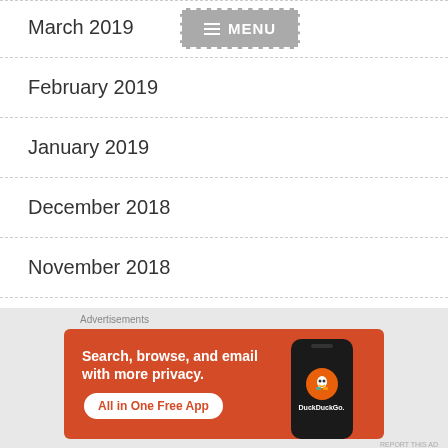March 2019
February 2019
January 2019
December 2018
November 2018
October 2018
September 2018
[Figure (screenshot): DuckDuckGo advertisement banner with orange background showing 'Search, browse, and email with more privacy. All in One Free App' with a phone image and DuckDuckGo logo]
Advertisements